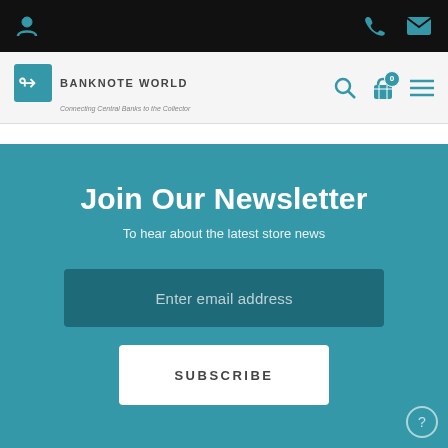[Figure (screenshot): Black top navigation bar with user icon on the left and phone/email icons on the right]
[Figure (logo): Banknote World logo with teal swirl icon, text BANKNOTE WORLD and tagline Connecting Central Banks to the Collector. Nav bar with search, cart (0), and hamburger menu icons.]
Join Our Newsletter
To hear about the latest store news
Enter email address
SUBSCRIBE